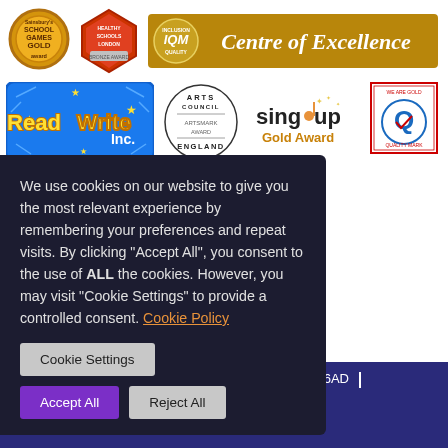[Figure (logo): Sainsbury's School Games Gold Award medal logo]
[Figure (logo): Healthy Schools London Bronze Award red shield logo]
[Figure (logo): IQM Inclusion Quality Mark Centre of Excellence gold banner]
[Figure (logo): Read Write Inc. blue logo with yellow text]
[Figure (logo): Arts Council England Artsmark Award circular stamp]
[Figure (logo): Sing Up Gold Award text logo]
[Figure (logo): Quality Mark circular blue Q logo with red border]
We use cookies on our website to give you the most relevant experience by remembering your preferences and repeat visits. By clicking “Accept All”, you consent to the use of ALL the cookies. However, you may visit “Cookie Settings” to provide a controlled consent. Cookie Policy
Cookie Settings
Accept All
Reject All
ndon, E6 6AD | 0674 | sch.uk